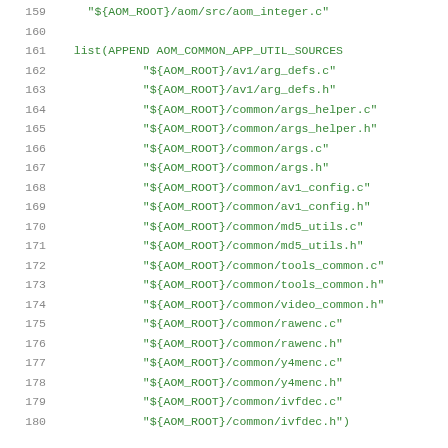Code listing lines 159-180 showing CMake list(APPEND AOM_COMMON_APP_UTIL_SOURCES ...) with file paths using ${AOM_ROOT} variable